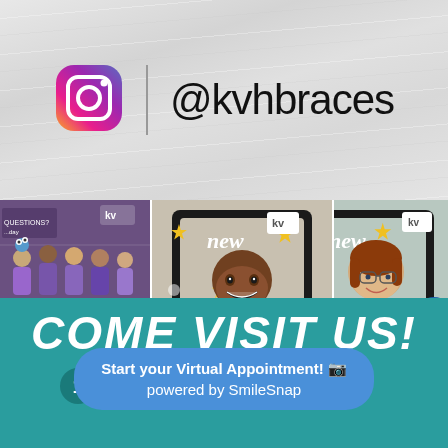[Figure (logo): Instagram logo icon (gradient purple-pink-orange square with camera icon)]
@kvhbraces
[Figure (photo): Collage of four Instagram photos: top-left group photo of staff in purple shirts, bottom-left step-and-repeat banner photo, center photo of young Black woman holding 'new/SMILE' frame prop, right photo of young white woman with glasses holding 'new/SMILE' frame prop]
COME VISIT US!
Ke...
5241 Providence Rd.
[Figure (infographic): Blue rounded rectangle button overlay: 'Start your Virtual Appointment! [camera icon] powered by SmileSnap']
[Figure (infographic): Blue circle accessibility icon button in bottom-right of photos area]